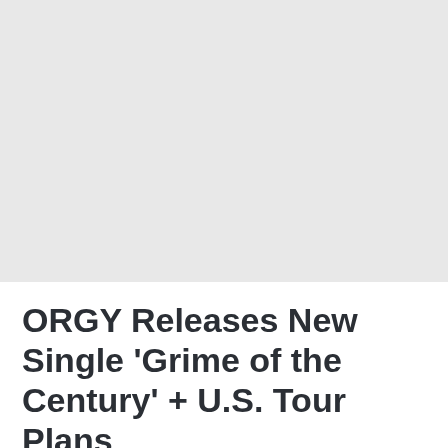[Figure (photo): Large image placeholder area with light grey background occupying the top portion of the page]
ORGY Releases New Single 'Grime of the Century' + U.S. Tour Plans